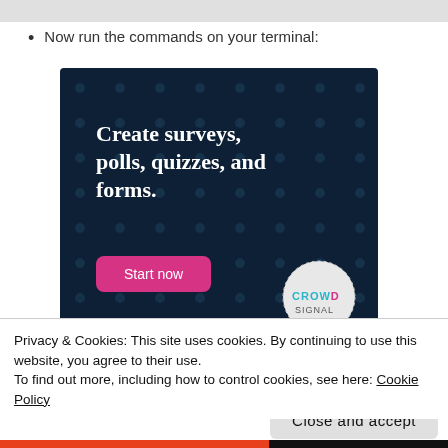Now run the commands on your terminal:
[Figure (illustration): Advertisement banner with dark navy background and dot pattern. Text reads 'Create surveys, polls, quizzes, and forms.' with a pink 'Start now' button and a Crowdsignal logo in the bottom right corner.]
Privacy & Cookies: This site uses cookies. By continuing to use this website, you agree to their use.
To find out more, including how to control cookies, see here: Cookie Policy
Close and accept